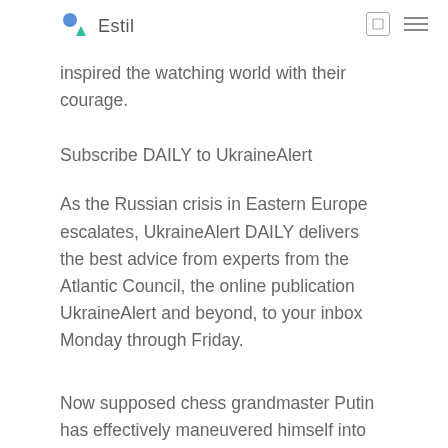Estil
inspired the watching world with their courage.
Subscribe DAILY to UkraineAlert
As the Russian crisis in Eastern Europe escalates, UkraineAlert DAILY delivers the best advice from experts from the Atlantic Council, the online publication UkraineAlert and beyond, to your inbox Monday through Friday.
Now supposed chess grandmaster Putin has effectively maneuvered himself into an unwinnable position. Ukrainians across the country, whatever language they prefer to speak, religion or ethnicity, rallied around the flag. Tens of the number of any other text found here.